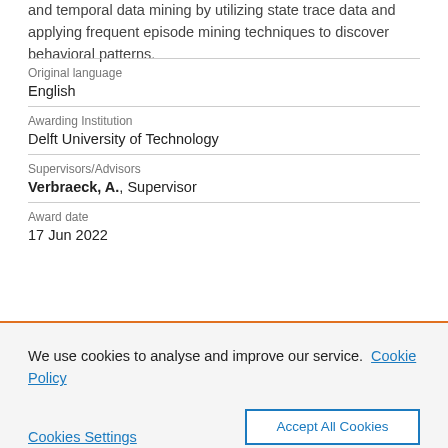and temporal data mining by utilizing state trace data and applying frequent episode mining techniques to discover behavioral patterns.
| Original language | English |
| Awarding Institution | Delft University of Technology |
| Supervisors/Advisors | Verbraeck, A., Supervisor |
| Award date | 17 Jun 2022 |
We use cookies to analyse and improve our service. Cookie Policy
Cookies Settings  Accept All Cookies